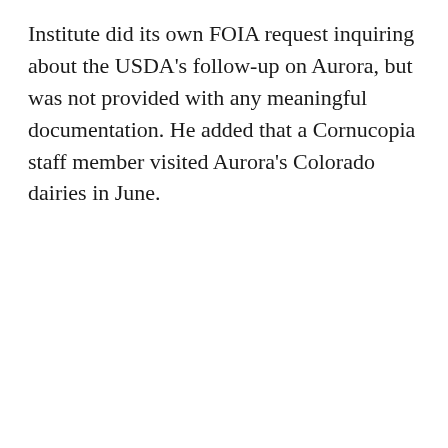Institute did its own FOIA request inquiring about the USDA's follow-up on Aurora, but was not provided with any meaningful documentation. He added that a Cornucopia staff member visited Aurora's Colorado dairies in June.